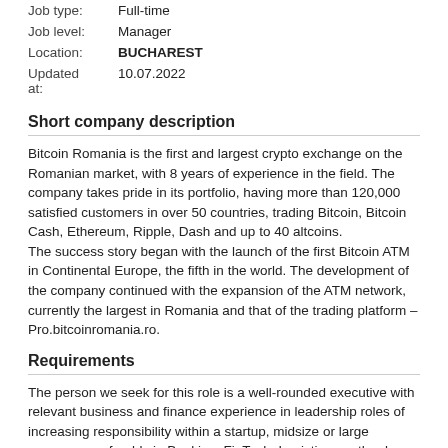| Job type: | Full-time |
| Job level: | Manager |
| Location: | BUCHAREST |
| Updated at: | 10.07.2022 |
Short company description
Bitcoin Romania is the first and largest crypto exchange on the Romanian market, with 8 years of experience in the field. The company takes pride in its portfolio, having more than 120,000 satisfied customers in over 50 countries, trading Bitcoin, Bitcoin Cash, Ethereum, Ripple, Dash and up to 40 altcoins.
The success story began with the launch of the first Bitcoin ATM in Continental Europe, the fifth in the world. The development of the company continued with the expansion of the ATM network, currently the largest in Romania and that of the trading platform – Pro.bitcoinromania.ro.
Requirements
The person we seek for this role is a well-rounded executive with relevant business and finance experience in leadership roles of increasing responsibility within a startup, midsize or large company, preferably in Banking, FinTech, Logistics or other key industries.
□ University degree in Finance (MBA, ACCA would be a plus)